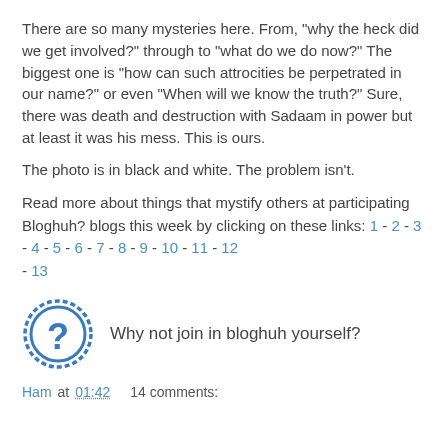There are so many mysteries here. From, "why the heck did we get involved?" through to "what do we do now?" The biggest one is "how can such attrocities be perpetrated in our name?" or even "When will we know the truth?" Sure, there was death and destruction with Sadaam in power but at least it was his mess. This is ours.
The photo is in black and white. The problem isn't.
Read more about things that mystify others at participating Bloghuh? blogs this week by clicking on these links: 1 - 2 - 3 - 4 - 5 - 6 - 7 - 8 - 9 - 10 - 11 - 12 - 13
[Figure (illustration): Blue circular question mark icon with dotted border]
Why not join in bloghuh yourself?
Ham at 01:42   14 comments: